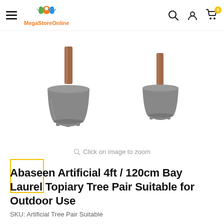MegaStoreOnline
[Figure (photo): Two grey plastic pots each with a wooden stake, shown as product images side by side on a white background]
Click on image to zoom
[Figure (photo): Small thumbnail image box with yellow border, currently blank/white]
Abaseen Artificial 4ft / 120cm Bay Laurel Topiary Tree Pair Suitable for Outdoor Use
SKU: Artificial Tree Pair Suitable